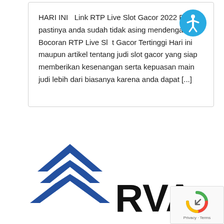HARI INI  Link RTP Live Slot Gacor 2022 Resmi pastinya anda sudah tidak asing mendengar Bocoran RTP Live Slot Gacor Tertinggi Hari ini maupun artikel tentang judi slot gacor yang siap memberikan kesenangan serta kepuasan main judi lebih dari biasanya karena anda dapat [...]
[Figure (logo): Blue chevron/house logo on left, black RVA text logo on right, partial view at bottom of page]